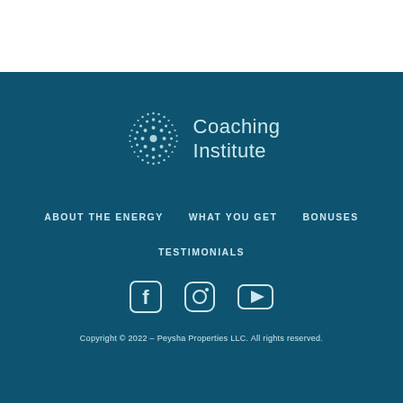[Figure (logo): Coaching Institute logo: circular sunburst/dot pattern icon in teal/white beside the text 'Coaching Institute' in light teal on dark teal background]
ABOUT THE ENERGY
WHAT YOU GET
BONUSES
TESTIMONIALS
[Figure (other): Facebook icon (white F in rounded square outline) on dark teal background]
[Figure (other): Instagram icon (camera outline) on dark teal background]
[Figure (other): YouTube play button icon on dark teal background]
Copyright © 2022 – Peysha Properties LLC. All rights reserved.